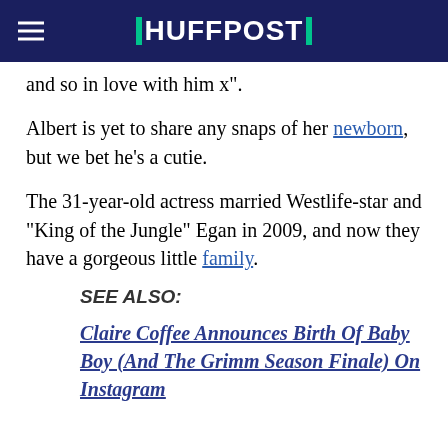HUFFPOST
and so in love with him x".
Albert is yet to share any snaps of her newborn, but we bet he's a cutie.
The 31-year-old actress married Westlife-star and "King of the Jungle" Egan in 2009, and now they have a gorgeous little family.
SEE ALSO:
Claire Coffee Announces Birth Of Baby Boy (And The Grimm Season Finale) On Instagram